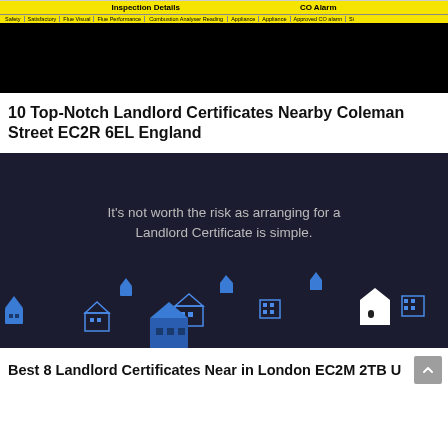| Safety | Satisfactory | Flue Visual | Flue Performance | Combustion Analyser Reading | Appliance | Appliance | Approved CO Alarm | ... |
| --- | --- | --- | --- | --- | --- | --- | --- | --- |
10 Top-Notch Landlord Certificates Nearby Coleman Street EC2R 6EL England
[Figure (illustration): Dark background image with animated house icons in blue and white scattered along the bottom, center text reads: It's not worth the risk as arranging for a Landlord Certificate is simple.]
Best 8 Landlord Certificates Near in London EC2M 2TB U